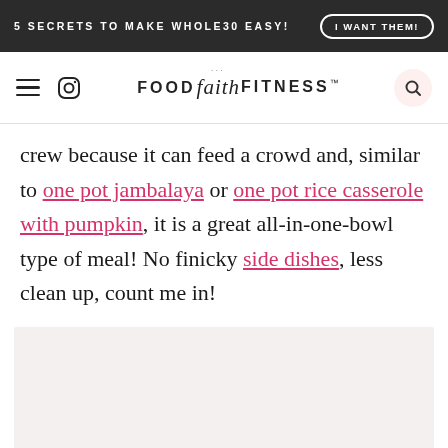5 SECRETS TO MAKE WHOLE30 EASY!  I WANT THEM!
FOOD faith FITNESS™
crew because it can feed a crowd and, similar to one pot jambalaya or one pot rice casserole with pumpkin, it is a great all-in-one-bowl type of meal! No finicky side dishes, less clean up, count me in!
[Figure (photo): Image placeholder below the text content]